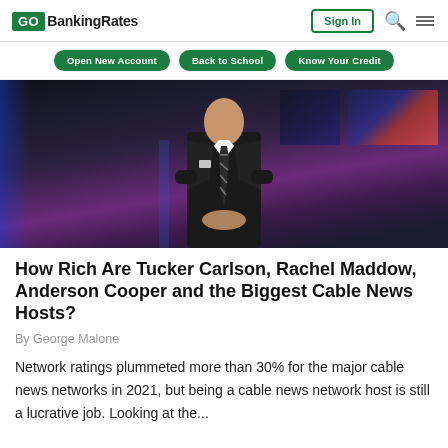GOBankingRates | Sign In
[Figure (illustration): Navigation bar with GOBankingRates logo, Sign In button, search icon, and hamburger menu icon]
[Figure (other): Three green pill-shaped navigation buttons: Open New Account, Back to School, Know Your Credit]
[Figure (photo): A man in a black suit and striped tie standing in a TV news studio with monitors and purple/blue lighting in the background]
How Rich Are Tucker Carlson, Rachel Maddow, Anderson Cooper and the Biggest Cable News Hosts?
By George Malone
Network ratings plummeted more than 30% for the major cable news networks in 2021, but being a cable news network host is still a lucrative job. Looking at the...